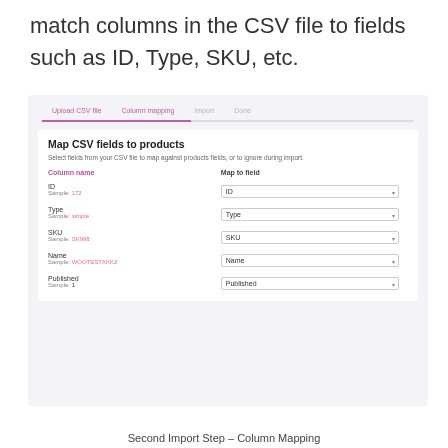match columns in the CSV file to fields such as ID, Type, SKU, etc.
[Figure (screenshot): Screenshot of the Column Mapping step of a CSV import wizard. Shows tabs: Upload CSV file, Column mapping (active), Import, Done. Below is a card titled 'Map CSV fields to products' with description 'Select fields from your CSV file to map against products fields, or to ignore during import.' A table with two columns: 'Column name' and 'Map to field' lists rows: ID (Sample: 172) → ID dropdown; Type (Sample: simple) → Type dropdown; SKU (Sample: SK998) → SKU dropdown; Name (Sample: WOOTESTXKK2) → Name dropdown; Published (Sample: 1) → Published dropdown.]
Second Import Step – Column Mapping